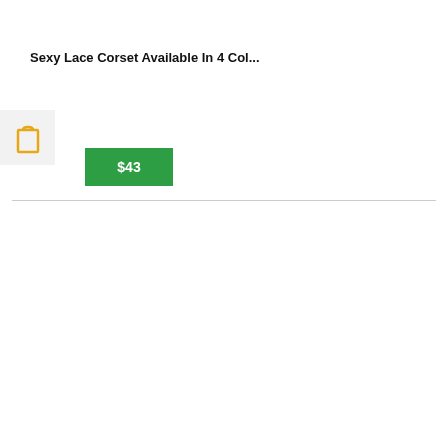Sexy Lace Corset Available In 4 Col...
[Figure (other): Shopping cart icon in orange/gold color inside a light gray box]
$43